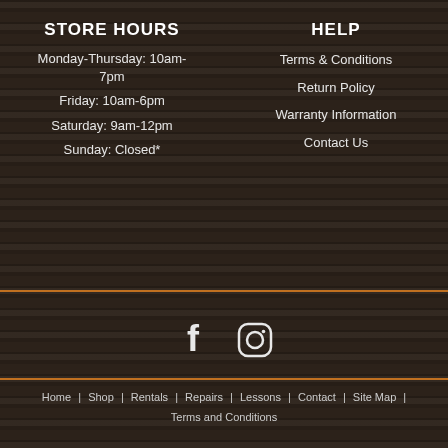STORE HOURS
Monday-Thursday: 10am-7pm
Friday: 10am-6pm
Saturday: 9am-12pm
Sunday: Closed*
HELP
Terms & Conditions
Return Policy
Warranty Information
Contact Us
[Figure (other): Facebook and Instagram social media icons]
Home | Shop | Rentals | Repairs | Lessons | Contact | Site Map | Terms and Conditions